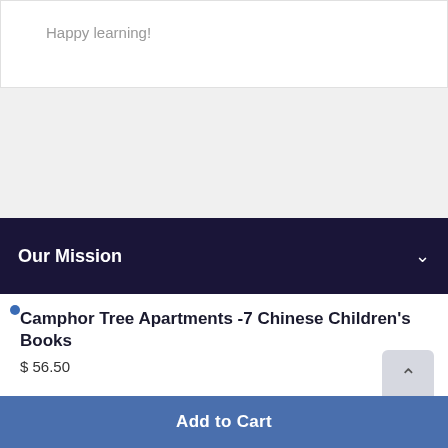Happy learning!
Our Mission
Camphor Tree Apartments -7 Chinese Children's Books
$ 56.50
Add to Cart